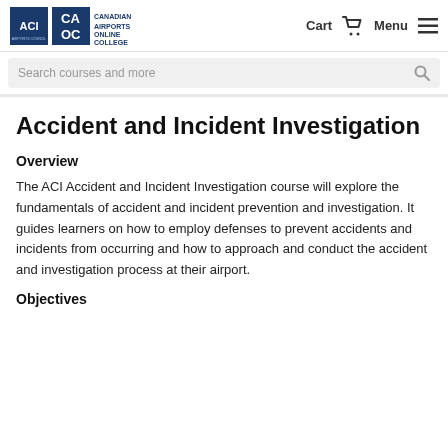[Figure (logo): ACI (Airports Council International) logo and CAOC (Canadian Airports Online College) logo side by side in the navigation header]
Cart  Menu
Search courses and more
Accident and Incident Investigation
Overview
The ACI Accident and Incident Investigation course will explore the fundamentals of accident and incident prevention and investigation. It guides learners on how to employ defenses to prevent accidents and incidents from occurring and how to approach and conduct the accident and investigation process at their airport.
Objectives